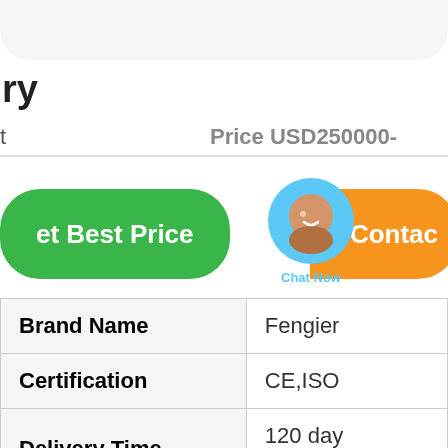ry
t
Price USD250000-
et Best Price
Chat Now
Contac
| Brand Name | Fengier |
| --- | --- |
| Certification | CE,ISO |
| Delivery Time | 120 days |